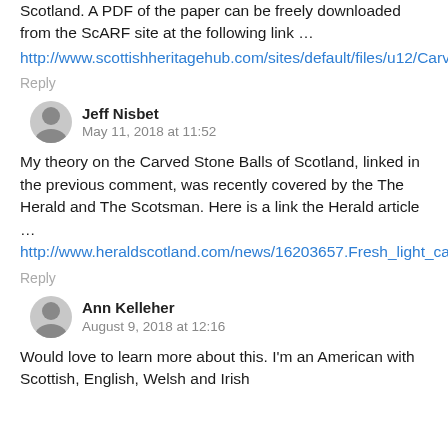Scotland. A PDF of the paper can be freely downloaded from the ScARF site at the following link …
http://www.scottishheritagehub.com/sites/default/files/u12/CarvedStoneBalls.pdf
Reply
Jeff Nisbet
May 11, 2018 at 11:52
My theory on the Carved Stone Balls of Scotland, linked in the previous comment, was recently covered by the The Herald and The Scotsman. Here is a link the Herald article … http://www.heraldscotland.com/news/16203657.Fresh_light_cast_on_the_mystery_of_Scotland_s_elaborately_carved_balls/
Reply
Ann Kelleher
August 9, 2018 at 12:16
Would love to learn more about this. I'm an American with Scottish, English, Welsh and Irish …